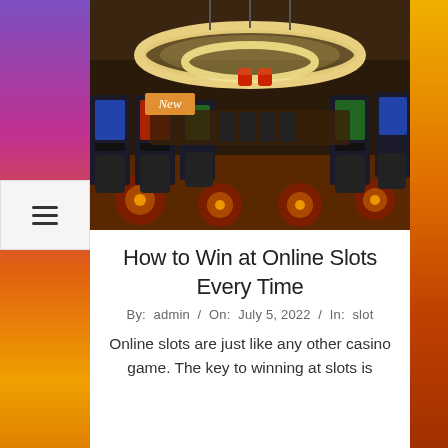[Figure (photo): Interior of a casino floor showing rows of slot machines on both sides, decorative circular lighting fixtures overhead, and a patterned carpet on the floor.]
How to Win at Online Slots Every Time
By: admin / On: July 5, 2022 / In: slot
Online slots are just like any other casino game. The key to winning at slots is